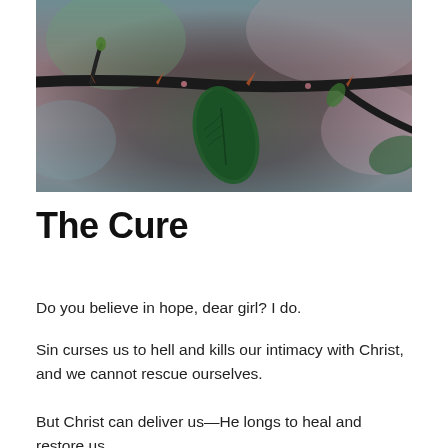[Figure (photo): Close-up macro photograph of a thorny dark branch with green leaves against a blurred, soft-focus background of muted greens, pinks, and mauves.]
The Cure
Do you believe in hope, dear girl? I do.
Sin curses us to hell and kills our intimacy with Christ, and we cannot rescue ourselves.
But Christ can deliver us—He longs to heal and restore us.